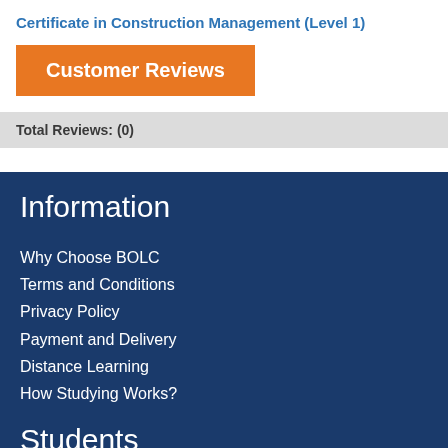Certificate in Construction Management (Level 1)
Customer Reviews
Total Reviews: (0)
Information
Why Choose BOLC
Terms and Conditions
Privacy Policy
Payment and Delivery
Distance Learning
How Studying Works?
Students